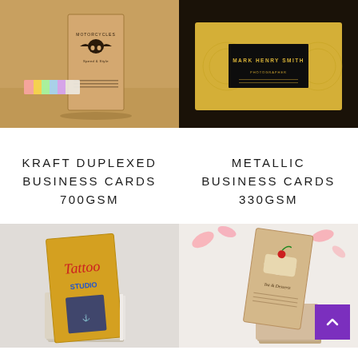[Figure (photo): Kraft brown business card mockup with holographic rainbow foil strip and motorcycle branding design]
[Figure (photo): Metallic gold and black luxury business card mockup with floral pattern and Mark Henry Smith name]
KRAFT DUPLEXED
BUSINESS CARDS
700GSM
METALLIC
BUSINESS CARDS
330GSM
[Figure (photo): Gold foil business card mockup with Tattoo studio branding and anchor design]
[Figure (photo): Kraft brown business card mockup with dessert/cake illustration and Tea & Desserts branding]